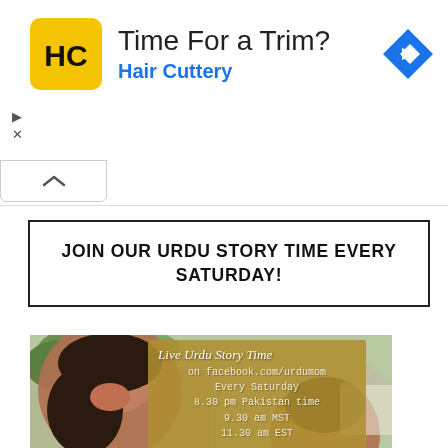[Figure (other): Hair Cuttery advertisement banner with yellow logo showing 'HC', title 'Time For a Trim?', subtitle 'Hair Cuttery' in blue, and a blue navigation diamond icon on the right. Ad controls (play and X icons) on left side. Collapse chevron tab below.]
JOIN OUR URDU STORY TIME EVERY SATURDAY!
[Figure (photo): Photo of two women smiling outdoors with trees in background. Overlaid golden box reads: 'Live Urdu Story Time on facebook.com/urdumom Every Saturday 8.30 pm Pakistan time 9.30 am MST 11.30 am EST']